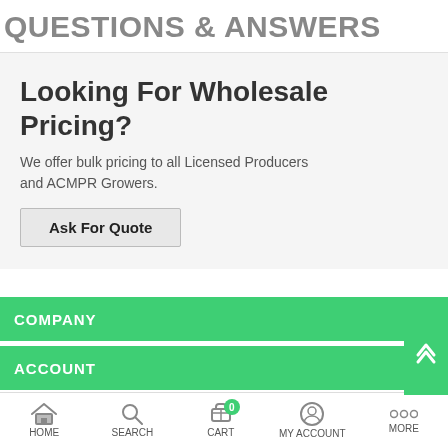QUESTIONS & ANSWERS
Looking For Wholesale Pricing?
We offer bulk pricing to all Licensed Producers and ACMPR Growers.
Ask For Quote
COMPANY
ACCOUNT
CATEGORIES
HOME  SEARCH  CART  MY ACCOUNT  MORE